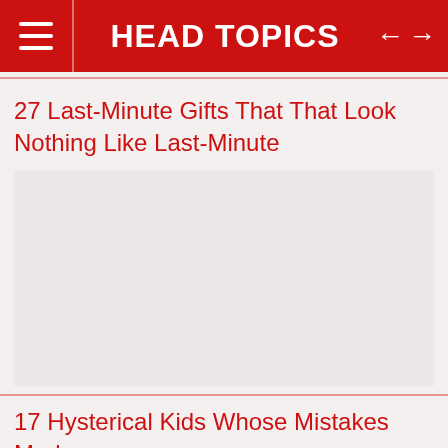HEAD TOPICS
27 Last-Minute Gifts That That Look Nothing Like Last-Minute
[Figure (photo): Image placeholder area for article photo]
17 Hysterical Kids Whose Mistakes Made